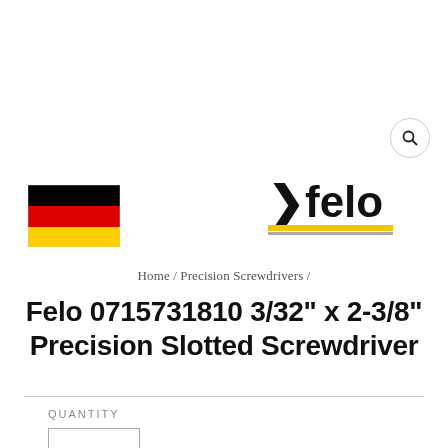[Figure (logo): German flag — three horizontal stripes: black, red, gold/yellow]
[Figure (logo): Felo brand logo: bold chevron '>' followed by 'felo' in bold black text, with a yellow underline bar and a thin grey underline bar beneath it]
Home / Precision Screwdrivers /
Felo 0715731810 3/32" x 2-3/8" Precision Slotted Screwdriver
QUANTITY